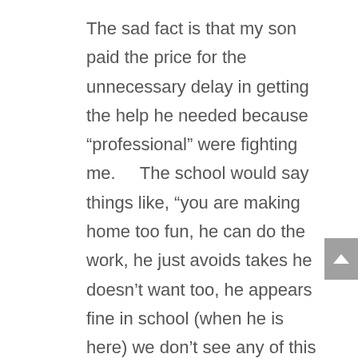The sad fact is that my son paid the price for the unnecessary delay in getting the help he needed because “professional” were fighting me.    The school would say things like, “you are making home too fun, he can do the work, he just avoids takes he doesn’t want too, he appears fine in school (when he is here) we don’t see any of this behavior.
The behavior they were referring too included: Locking himself in the bathroom, and not coming out; crying hysterically I am not going, don’t make me go; laying In a fetal position on the coach or floor rocking back and forth.  He